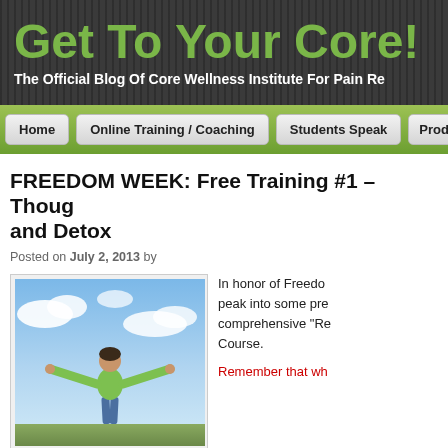Get To Your Core!
The Official Blog Of Core Wellness Institute For Pain Re...
Home | Online Training / Coaching | Students Speak | Product...
FREEDOM WEEK: Free Training #1 – Thoug... and Detox
Posted on July 2, 2013 by
[Figure (photo): Person standing with arms outstretched against a blue sky with clouds, wearing a green shirt and jeans, viewed from behind.]
In honor of Freedom... peak into some pre... comprehensive "Re... Course.
Remember that wh...